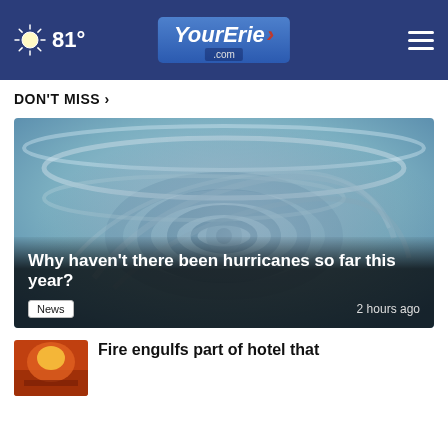81° YourErie.com
DON'T MISS ›
[Figure (photo): Swirling water pattern resembling a hurricane or vortex, blue-grey tones]
Why haven't there been hurricanes so far this year?
News  2 hours ago
Fire engulfs part of hotel that